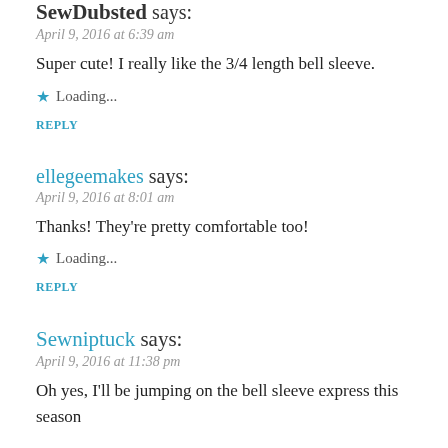SewDubsted says:
April 9, 2016 at 6:39 am
Super cute! I really like the 3/4 length bell sleeve.
Loading...
REPLY
ellegeemakes says:
April 9, 2016 at 8:01 am
Thanks! They're pretty comfortable too!
Loading...
REPLY
Sewniptuck says:
April 9, 2016 at 11:38 pm
Oh yes, I'll be jumping on the bell sleeve express this season